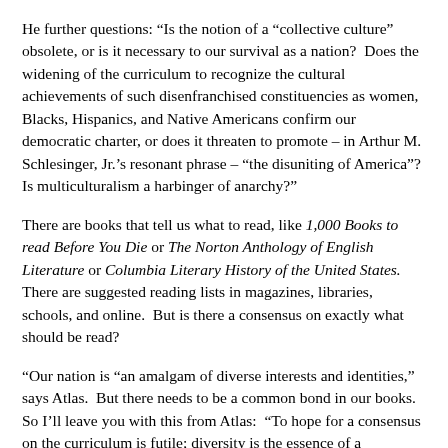He further questions: “Is the notion of a “collective culture” obsolete, or is it necessary to our survival as a nation?  Does the widening of the curriculum to recognize the cultural achievements of such disenfranchised constituencies as women, Blacks, Hispanics, and Native Americans confirm our democratic charter, or does it threaten to promote – in Arthur M. Schlesinger, Jr.’s resonant phrase – “the disuniting of America”?  Is multiculturalism a harbinger of anarchy?”
There are books that tell us what to read, like 1,000 Books to read Before You Die or The Norton Anthology of English Literature or Columbia Literary History of the United States.  There are suggested reading lists in magazines, libraries, schools, and online.  But is there a consensus on exactly what should be read?
“Our nation is “an amalgam of diverse interests and identities,” says Atlas.  But there needs to be a common bond in our books. So I’ll leave you with this from Atlas:  “To hope for a consensus on the curriculum is futile; diversity is the essence of a democratic society. But diversity has its limits.  “Even a randomly picked group of intelligent and educated people will agree on a handful of books that everyone should read at some point, in some form,” Roger Shattuck asserts.  What books?  It wouldn’t be hard to come up with a provisional list:  the standard works of Aristotle and Plato, St. Augustine, Machiavelli, Montaigne, Rousseau...